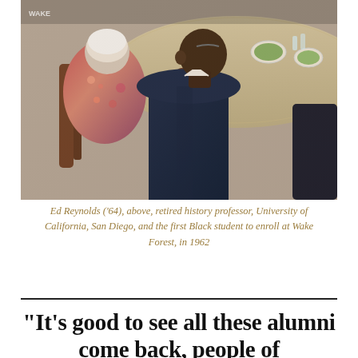[Figure (photo): Ed Reynolds seated at a formal dinner table, viewed from behind, wearing a dark navy suit. A woman in a colorful floral top sits to his left. The table has salads, glassware, and a patterned tablecloth.]
Ed Reynolds ('64), above, retired history professor, University of California, San Diego, and the first Black student to enroll at Wake Forest, in 1962
“It’s good to see all these alumni come back, people of